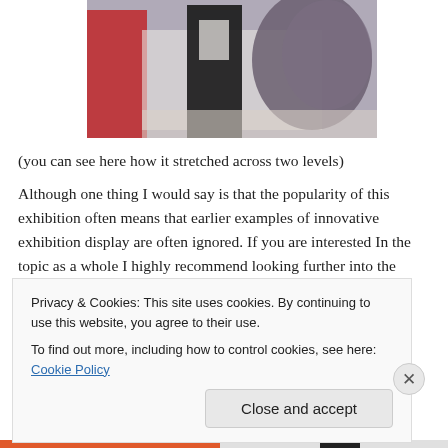[Figure (photo): Fashion exhibition display showing mannequins in sequined black outfit, red dress, and large feathery grey garment across two levels.]
(you can see here how it stretched across two levels)
Although one thing I would say is that the popularity of this exhibition often means that earlier examples of innovative exhibition display are often ignored. If you are interested In the topic as a whole I highly recommend looking further into the
Privacy & Cookies: This site uses cookies. By continuing to use this website, you agree to their use.
To find out more, including how to control cookies, see here: Cookie Policy
Close and accept